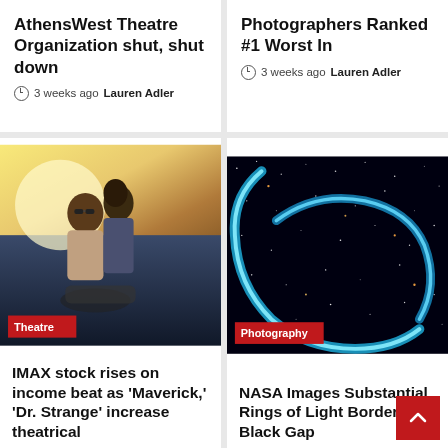AthensWest Theatre Organization shut, shut down
3 weeks ago  Lauren Adler
Photographers Ranked #1 Worst In
3 weeks ago  Lauren Adler
[Figure (photo): Two people on a motorcycle, movie still, warm golden light, labeled Theatre]
[Figure (photo): NASA space image showing blue glowing rings against a black starfield, labeled Photography]
IMAX stock rises on income beat as 'Maverick,' 'Dr. Strange' increase theatrical
NASA Images Substantial Rings of Light Bordering a Black Gap